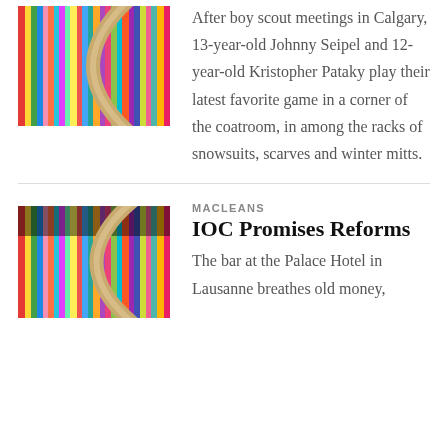[Figure (photo): Close-up photo of colorful striped fabric or woven material with a curved element, possibly a bag strap or hoop.]
After boy scout meetings in Calgary, 13-year-old Johnny Seipel and 12-year-old Kristopher Pataky play their latest favorite game in a corner of the coatroom, in among the racks of snowsuits, scarves and winter mitts.
[Figure (photo): Close-up photo of colorful striped fabric or woven material with a curved element, similar to the first image.]
MACLEANS
IOC Promises Reforms
The bar at the Palace Hotel in Lausanne breathes old money,